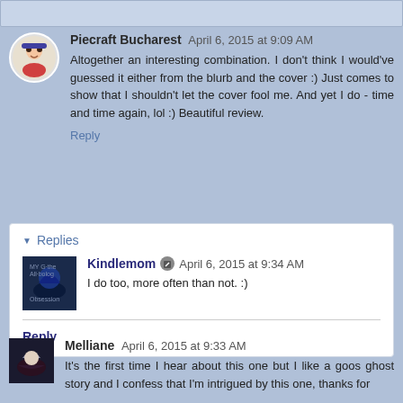Piecraft Bucharest April 6, 2015 at 9:09 AM
Altogether an interesting combination. I don't think I would've guessed it either from the blurb and the cover :) Just comes to show that I shouldn't let the cover fool me. And yet I do - time and time again, lol :) Beautiful review.
Reply
Replies
Kindlemom April 6, 2015 at 9:34 AM
I do too, more often than not. :)
Reply
Melliane April 6, 2015 at 9:33 AM
It's the first time I hear about this one but I like a goos ghost story and I confess that I'm intrigued by this one, thanks for